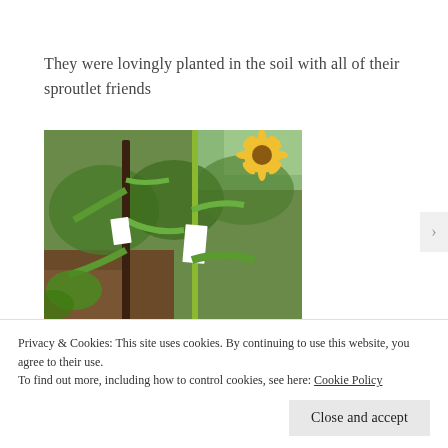They were lovingly planted in the soil with all of their sproutlet friends
[Figure (photo): Garden photo showing tall corn plants and sunflowers with white plant markers/labels attached to stalks, with soil and green foliage in the background.]
Privacy & Cookies: This site uses cookies. By continuing to use this website, you agree to their use.
To find out more, including how to control cookies, see here: Cookie Policy
Close and accept